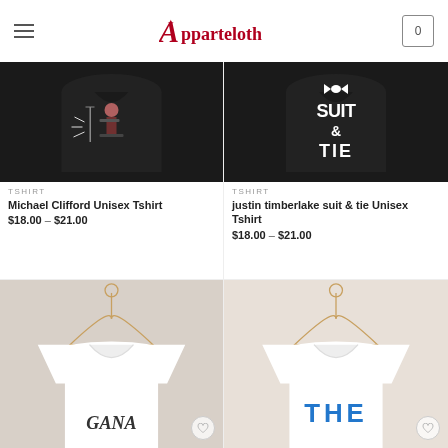Apparteloth — navigation header with hamburger menu and cart (0 items)
[Figure (photo): Black t-shirt with Michael Clifford graphic print (person playing guitar), displayed on white background]
TSHIRT
Michael Clifford Unisex Tshirt
$18.00 – $21.00
[Figure (photo): Black t-shirt with 'SUIT & TIE' text and bow tie graphic in white lettering, displayed on white background]
TSHIRT
justin timberlake suit & tie Unisex Tshirt
$18.00 – $21.00
[Figure (photo): White t-shirt on wooden hanger with partially visible text, displayed with wishlist heart icon]
[Figure (photo): White t-shirt on wooden hanger with blue 'THE' text visible, displayed with wishlist heart icon]